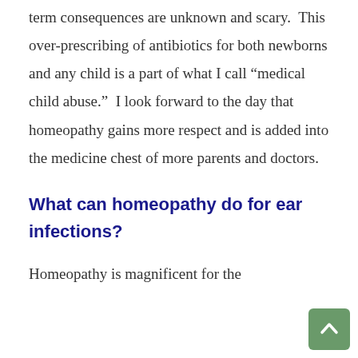term consequences are unknown and scary.  This over-prescribing of antibiotics for both newborns and any child is a part of what I call “medical child abuse.”  I look forward to the day that homeopathy gains more respect and is added into the medicine chest of more parents and doctors.
What can homeopathy do for ear infections?
Homeopathy is magnificent for the